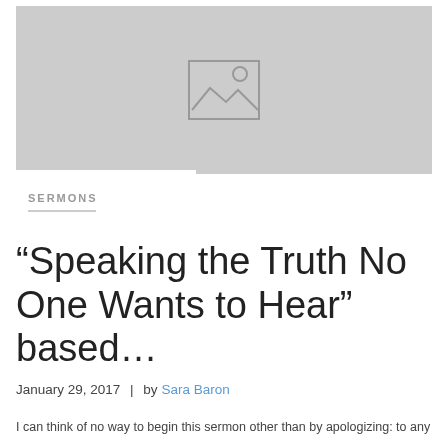[Figure (illustration): Gray placeholder image box with a generic mountain/landscape and sun icon in the center]
SERMONS
“Speaking the Truth No One Wants to Hear” based…
January 29, 2017  |  by Sara Baron
I can think of no way to begin this sermon other than by apologizing: to any